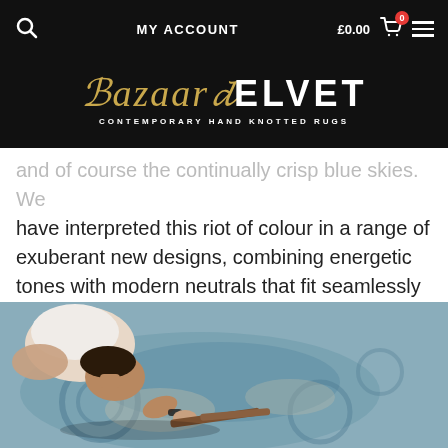MY ACCOUNT  £0.00  0
[Figure (logo): Bazaar Velvet logo with tagline CONTEMPORARY HAND KNOTTED RUGS on black background]
and of course the continually crisp blue skies. We have interpreted this riot of colour in a range of exuberant new designs, combining energetic tones with modern neutrals that fit seamlessly with contemporary styles.
[Figure (photo): A person leaning over a hand-knotted rug, working on it with tools]